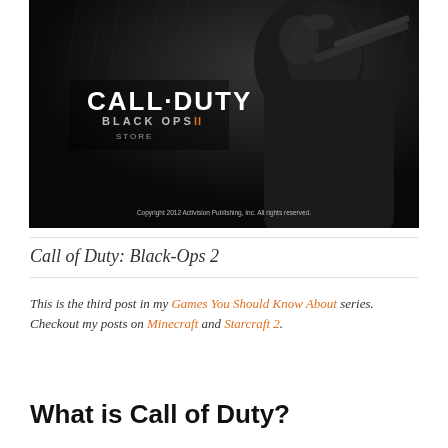[Figure (photo): Black and white promotional image for Call of Duty: Black Ops 2 showing a soldier holding a rifle, with the game logo visible. Copyright 2012 Activision Publishing, Inc. All rights reserved.]
Call of Duty: Black-Ops 2
This is the third post in my Games You Should Know About series. Checkout my posts on Minecraft and Starcraft 2.
What is Call of Duty?